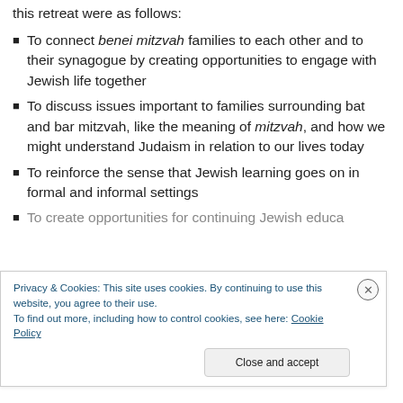this retreat were as follows:
To connect benei mitzvah families to each other and to their synagogue by creating opportunities to engage with Jewish life together
To discuss issues important to families surrounding bat and bar mitzvah, like the meaning of mitzvah, and how we might understand Judaism in relation to our lives today
To reinforce the sense that Jewish learning goes on in formal and informal settings
To create opportunities for continuing Jewish education…
Privacy & Cookies: This site uses cookies. By continuing to use this website, you agree to their use.
To find out more, including how to control cookies, see here: Cookie Policy